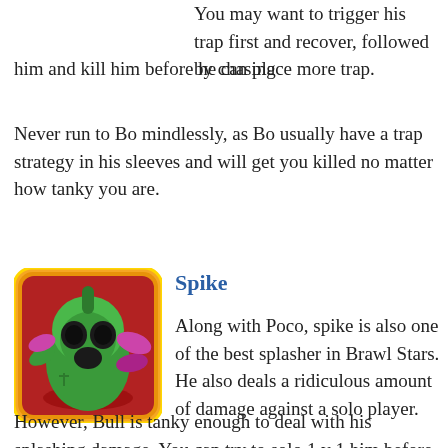You may want to trigger his trap first and recover, followed by chasing him and kill him before he can place more trap.
Never run to Bo mindlessly, as Bo usually have a trap strategy in his sleeves and will get you killed no matter how tanky you are.
[Figure (illustration): Spike character card from Brawl Stars — a green cactus-like character with dark eyes on a red background, framed with an orange/gold border.]
Spike
Along with Poco, spike is also one of the best splasher in Brawl Stars. He also deals a ridiculous amount of damage against a solo player.
However, Bull is tanky enough to deal with his splashing damage. You can try to solo 1 v 1 him before he can cause